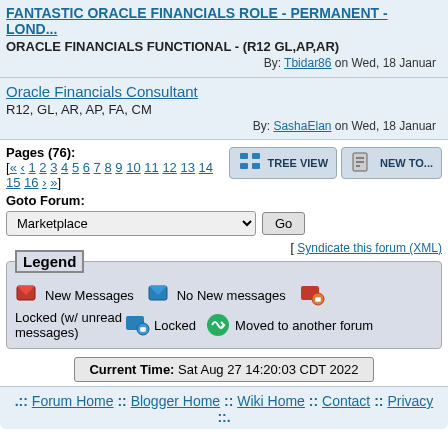FANTASTIC ORACLE FINANCIALS ROLE - PERMANENT - LOND...
ORACLE FINANCIALS FUNCTIONAL - (R12 GL,AP,AR)
By: Tbidar86 on Wed, 18 Januar
Oracle Financials Consultant
R12, GL, AR, AP, FA, CM
By: SashaElan on Wed, 18 Januar
Pages (76): [ « ‹ 1 2 3 4 5 6 7 8 9 10 11 12 13 14 15 16 › »]
Goto Forum:
Marketplace
[ Syndicate this forum (XML)
Legend
New Messages   No New messages   Locked (w/ unread messages)   Locked   Moved to another forum
Current Time: Sat Aug 27 14:20:03 CDT 2022
Forum Home :: Blogger Home :: Wiki Home :: Contact :: Privacy
::